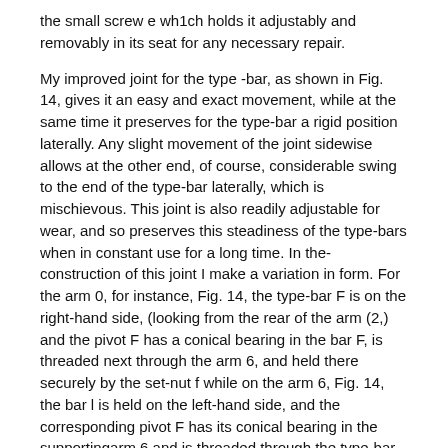the small screw e wh1ch holds it adjustably and removably in its seat for any necessary repair.
My improved joint for the type -bar, as shown in Fig. 14, gives it an easy and exact movement, while at the same time it preserves for the type-bar a rigid position laterally. Any slight movement of the joint sidewise allows at the other end, of course, considerable swing to the end of the type-bar laterally, which is mischievous. This joint is also readily adjustable for wear, and so preserves this steadiness of the type-bars when in constant use for a long time. In the-construction of this joint I make a variation in form. For the arm 0, for instance, Fig. 14, the type-bar F is on the right-hand side, (looking from the rear of the arm (2,) and the pivot F has a conical bearing in the bar F, is threaded next through the arm 6, and held there securely by the set-nut f while on the arm 6, Fig. 14, the bar l is held on the left-hand side, and the corresponding pivot F has its conical bearing in the supportingarm 6 and is threaded through the type-bar. F and held bya set-nut f leaving the righthand side of the arm e without any projection to interfere with the operation of the type-bar F, located on the same side of the bearing 6. I consider these